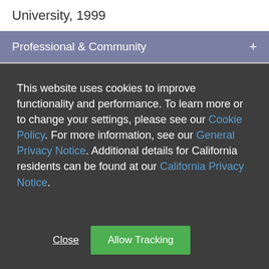University, 1999
Professional & Community +
This website uses cookies to improve functionality and performance. To learn more or to change your settings, please see our Cookie Policy. For more information, see our General Privacy Notice. Additional details for California residents can be found at our California Privacy Notice.
Close  Allow Tracking